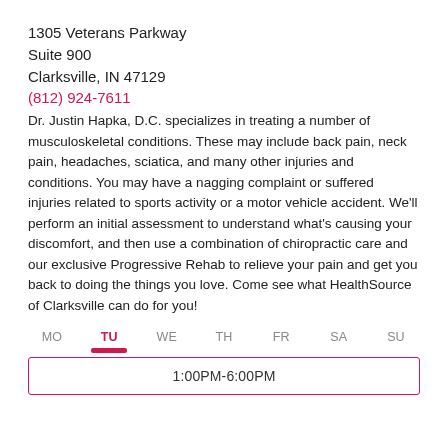1305 Veterans Parkway
Suite 900
Clarksville, IN 47129
(812) 924-7611
Dr. Justin Hapka, D.C. specializes in treating a number of musculoskeletal conditions. These may include back pain, neck pain, headaches, sciatica, and many other injuries and conditions. You may have a nagging complaint or suffered injuries related to sports activity or a motor vehicle accident. We'll perform an initial assessment to understand what's causing your discomfort, and then use a combination of chiropractic care and our exclusive Progressive Rehab to relieve your pain and get you back to doing the things you love. Come see what HealthSource of Clarksville can do for you!
| MO | TU | WE | TH | FR | SA | SU |
| --- | --- | --- | --- | --- | --- | --- |
|  |  |  |  |  |  |  |
| 1:00PM-6:00PM |  |  |  |  |  |  |